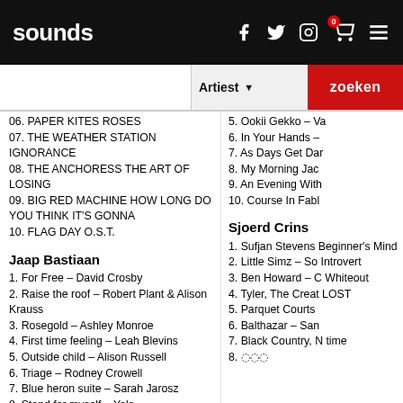sounds
06. PAPER KITES ROSES
07. THE WEATHER STATION IGNORANCE
08. THE ANCHORESS THE ART OF LOSING
09. BIG RED MACHINE HOW LONG DO YOU THINK IT'S GONNA
10. FLAG DAY O.S.T.
Jaap Bastiaan
1. For Free – David Crosby
2. Raise the roof – Robert Plant & Alison Krauss
3. Rosegold – Ashley Monroe
4. First time feeling – Leah Blevins
5. Outside child – Alison Russell
6. Triage – Rodney Crowell
7. Blue heron suite – Sarah Jarosz
8. Stand for myself – Yola
9. I don't live here anymore – War on drugs
10. Liberte – Doobie Brothers
5. Ookii Gekko – Va
6. In Your Hands –
7. As Days Get Dar
8. My Morning Jac
9. An Evening With
10. Course In Fabl
Sjoerd Crins
1. Sufjan Stevens Beginner's Mind
2. Little Simz – So Introvert
3. Ben Howard – C Whiteout
4. Tyler, The Creat LOST
5. Parquet Courts
6. Balthazar – San
7. Black Country, N time
8. ...